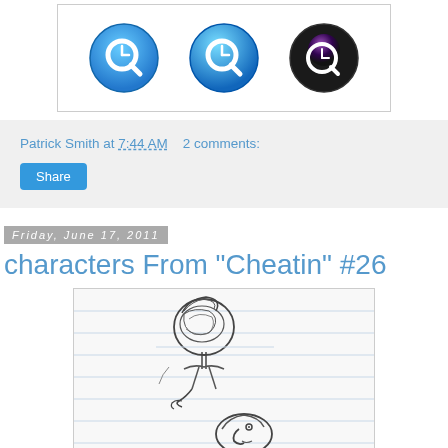[Figure (illustration): Three QuickTime-style application icons side by side: two blue versions and one dark/black version with a pink/purple highlight, all showing a stylized 'Q' letterform with a clock overlay.]
Patrick Smith at 7:44 AM   2 comments:
Share
Friday, June 17, 2011
characters From "Cheatin" #26
[Figure (illustration): Pencil sketch on lined paper showing two cartoon characters: a large round-headed figure viewed from above/behind, and a second character with an exaggerated nose visible at the bottom, both drawn in rough pencil strokes.]